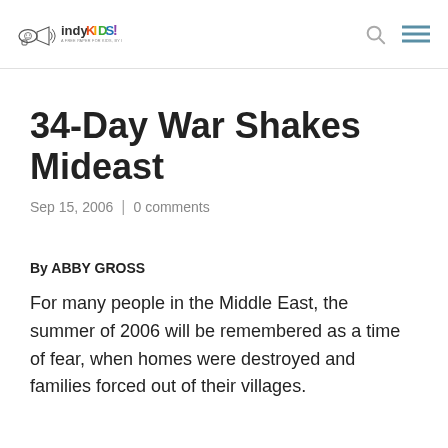indyKIDS! A Free Paper For Kids, By Kids
34-Day War Shakes Mideast
Sep 15, 2006 | 0 comments
By ABBY GROSS
For many people in the Middle East, the summer of 2006 will be remembered as a time of fear, when homes were destroyed and families forced out of their villages.